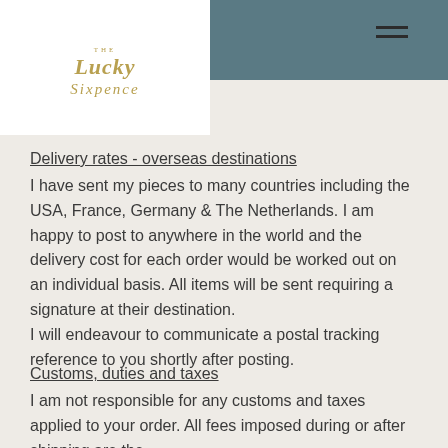The Lucky Sixpence (logo/navigation header)
…determined on this result as free delivery to the items will be sent requiring a signature at their destination.
Delivery rates - overseas destinations
I have sent my pieces to many countries including the USA, France, Germany & The Netherlands. I am happy to post to anywhere in the world and the delivery cost for each order would be worked out on an individual basis. All items will be sent requiring a signature at their destination.
I will endeavour to communicate a postal tracking reference to you shortly after posting.
Customs, duties and taxes
I am not responsible for any customs and taxes applied to your order. All fees imposed during or after shipping are the responsibility of the customer, tariff…